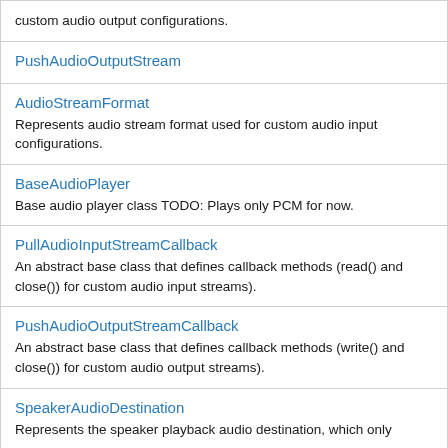custom audio output configurations.
PushAudioOutputStream
AudioStreamFormat
Represents audio stream format used for custom audio input configurations.
BaseAudioPlayer
Base audio player class TODO: Plays only PCM for now.
PullAudioInputStreamCallback
An abstract base class that defines callback methods (read() and close()) for custom audio input streams).
PushAudioOutputStreamCallback
An abstract base class that defines callback methods (write() and close()) for custom audio output streams).
SpeakerAudioDestination
Represents the speaker playback audio destination, which only